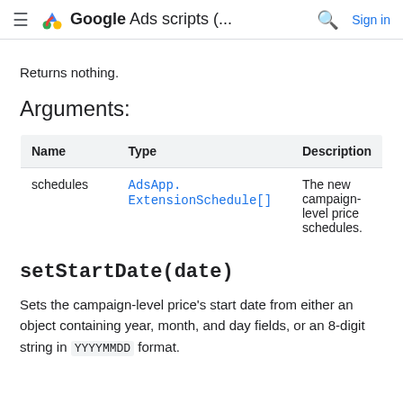Google Ads scripts (... Sign in
Returns nothing.
Arguments:
| Name | Type | Description |
| --- | --- | --- |
| schedules | AdsApp.ExtensionSchedule[] | The new campaign-level price schedules. |
setStartDate(date)
Sets the campaign-level price's start date from either an object containing year, month, and day fields, or an 8-digit string in YYYYMMDD format.